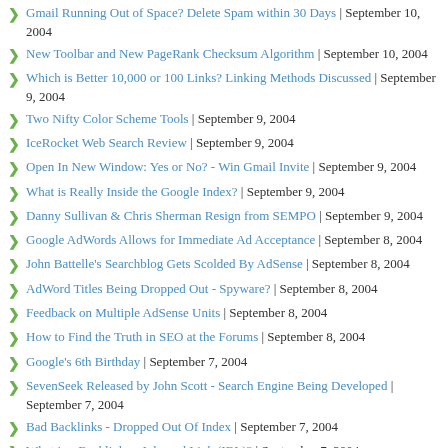Gmail Running Out of Space? Delete Spam within 30 Days | September 10, 2004
New Toolbar and New PageRank Checksum Algorithm | September 10, 2004
Which is Better 10,000 or 100 Links? Linking Methods Discussed | September 9, 2004
Two Nifty Color Scheme Tools | September 9, 2004
IceRocket Web Search Review | September 9, 2004
Open In New Window: Yes or No? - Win Gmail Invite | September 9, 2004
What is Really Inside the Google Index? | September 9, 2004
Danny Sullivan & Chris Sherman Resign from SEMPO | September 9, 2004
Google AdWords Allows for Immediate Ad Acceptance | September 8, 2004
John Battelle's Searchblog Gets Scolded By AdSense | September 8, 2004
AdWord Titles Being Dropped Out - Spyware? | September 8, 2004
Feedback on Multiple AdSense Units | September 8, 2004
How to Find the Truth in SEO at the Forums | September 8, 2004
Google's 6th Birthday | September 7, 2004
SevenSeek Released by John Scott - Search Engine Being Developed | September 7, 2004
Bad Backlinks - Dropped Out Of Index | September 7, 2004
What is a Backlink or Inbound Link (IBL)? | September 7, 2004
Google is Proactive on Picasa | September 7, 2004
Big Blue Pineapple Chair | September 7, 2004